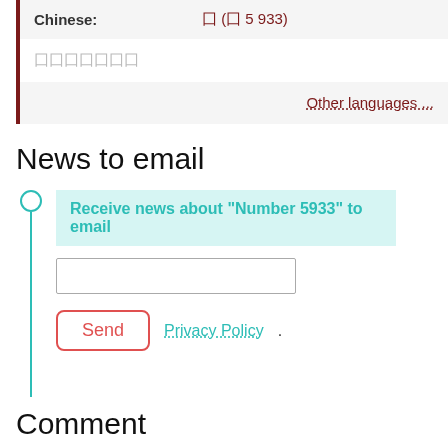| Language | Value |
| --- | --- |
| Chinese: | 囗 (囗 5 933) |
囗囗囗囗囗囗囗
Other languages ...
News to email
Receive news about "Number 5933" to email
Send   Privacy Policy.
Comment